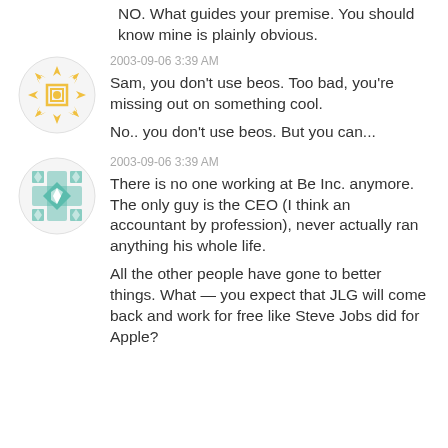NO. What guides your premise. You should know mine is plainly obvious.
2003-09-06 3:39 AM
Sam, you don't use beos. Too bad, you're missing out on something cool.
No.. you don't use beos. But you can...
2003-09-06 3:39 AM
There is no one working at Be Inc. anymore. The only guy is the CEO (I think an accountant by profession), never actually ran anything his whole life.
All the other people have gone to better things. What — you expect that JLG will come back and work for free like Steve Jobs did for Apple?